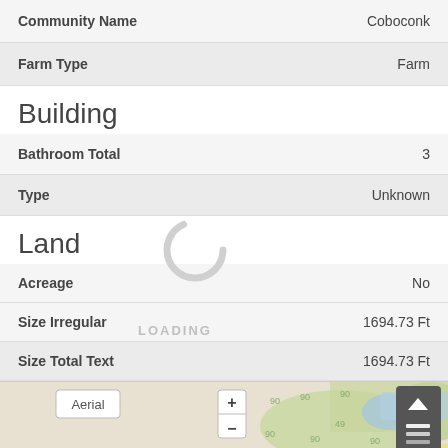| Field | Value |
| --- | --- |
| Community Name | Coboconk |
| Farm Type | Farm |
Building
| Field | Value |
| --- | --- |
| Bathroom Total | 3 |
| Type | Unknown |
Land
| Field | Value |
| --- | --- |
| Acreage | No |
| Size Irregular | 1694.73 Ft |
| Size Total Text | 1694.73 Ft |
[Figure (map): Aerial map view with zoom controls, layers button, and Aerial label. Map shows green and blue terrain areas with contour markings.]